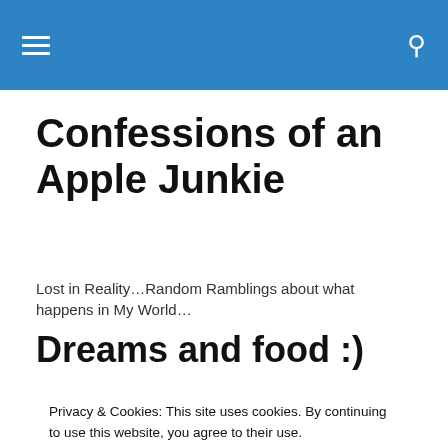[hamburger menu icon] [search icon]
Confessions of an Apple Junkie
Lost in Reality…Random Ramblings about what happens in My World…
Dreams and food :)
I woke up this morning not feeling the greatest.. I had a
Privacy & Cookies: This site uses cookies. By continuing to use this website, you agree to their use.
To find out more, including how to control cookies, see here: Cookie Policy
Close and accept
Awkward.